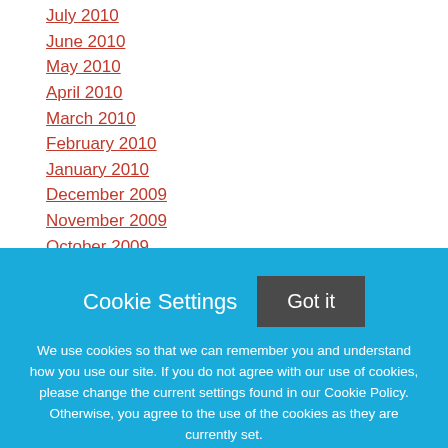July 2010
June 2010
May 2010
April 2010
March 2010
February 2010
January 2010
December 2009
November 2009
October 2009
September 2009
Cookie Settings
Got it
We use cookies so that we can remember you and understand how you use our site. If you do not agree with our use of cookies, please change the current settings found in our Cookie Policy. Otherwise, you agree to the use of the cookies as they are currently set.